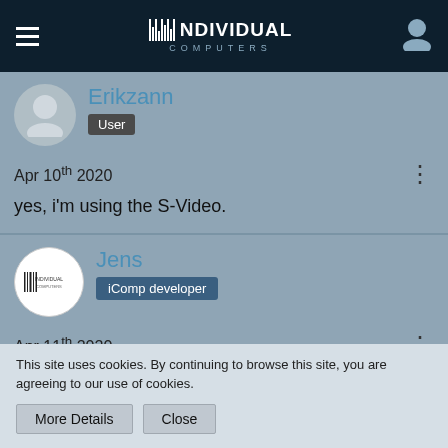INDIVIDUAL COMPUTERS
Erikzann
User
Apr 10th 2020
yes, i'm using the S-Video.
Jens
iComp developer
Apr 11th 2020
This site uses cookies. By continuing to browse this site, you are agreeing to our use of cookies.